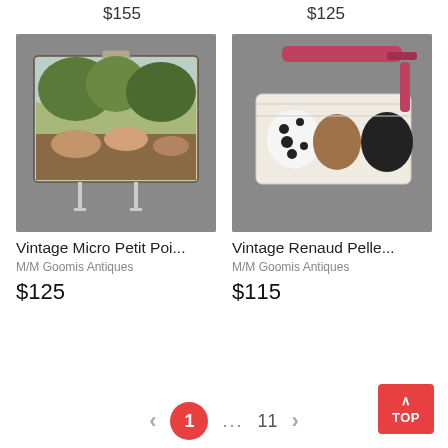$155  $125
[Figure (photo): Vintage tapestry clutch bag with classical scene showing reclining figures under trees, displayed on a gray background]
Vintage Micro Petit Poi...
M/M Goomis Antiques
$125
[Figure (photo): Vintage Renaud Pellegrino bag with dog motifs (dalmatian, brown dog, black french bulldog) on cream fabric with pink leather strap, on gray background]
Vintage Renaud Pelle...
M/M Goomis Antiques
$115
< 1 ... 11 >
TOP